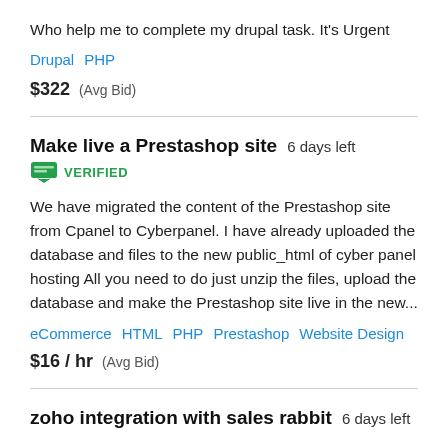Who help me to complete my drupal task. It's Urgent
Drupal  PHP
$322  (Avg Bid)
Make live a Prestashop site  6 days left
VERIFIED
We have migrated the content of the Prestashop site from Cpanel to Cyberpanel. I have already uploaded the database and files to the new public_html of cyber panel hosting All you need to do just unzip the files, upload the database and make the Prestashop site live in the new...
eCommerce  HTML  PHP  Prestashop  Website Design
$16 / hr  (Avg Bid)
zoho integration with sales rabbit  6 days left